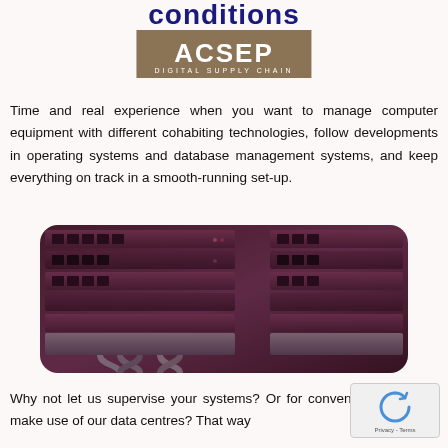conditions
[Figure (logo): ACSEP Digital Supply Chain logo with tan/brown background]
Time and real experience when you want to manage computer equipment with different cohabiting technologies, follow developments in operating systems and database management systems, and keep everything on track in a smooth-running set-up.
[Figure (photo): Close-up photo of server rack equipment with cables and drive bays, tinted in dark purple/maroon tones]
Why not let us supervise your systems? Or for convenience why not make use of our data centres? That way